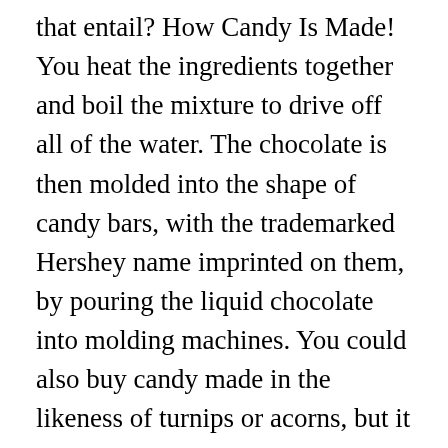that entail? How Candy Is Made! You heat the ingredients together and boil the mixture to drive off all of the water. The chocolate is then molded into the shape of candy bars, with the trademarked Hershey name imprinted on them, by pouring the liquid chocolate into molding machines. You could also buy candy made in the likeness of turnips or acorns, but it was the corn kernel-shaped variety (then marketed as âchicken feedâ) that took the country by storm. So it will be made in a similar fashion to taffy. Smith Kendon developed Altoids in 1780 to relieve intestinal discomfort, and Life Savers introduced its Pep-O â¦ Gelatin is a gelling agent made from animal skin